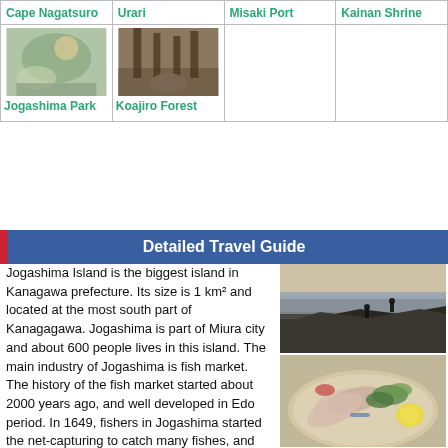| Cape Nagatsuro | Urari | Misaki Port | Kainan Shrine |
| --- | --- | --- | --- |
| [image] | [image] |  |  |
| Jogashima Park | Koajiro Forest |  |  |
Detailed Travel Guide
Jogashima Island is the biggest island in Kanagawa prefecture. Its size is 1 km² and located at the most south part of Kanagagawa. Jogashima is part of Miura city and about 600 people lives in this island. The main industry of Jogashima is fish market. The history of the fish market started about 2000 years ago, and well developed in Edo period. In 1649, fishers in Jogashima started the net-capturing to catch many fishes, and delivered those fishes to Edo city by fast ships. Also,
[Figure (photo): People standing on rocky coastal cliffs at sunset]
[Figure (photo): Japanese sashimi dish with fish, garnish and lemon]